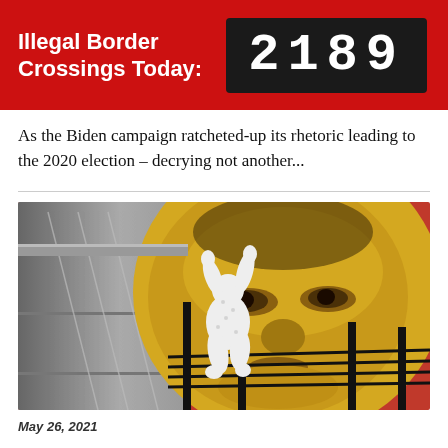Illegal Border Crossings Today: 2189
As the Biden campaign ratcheted-up its rhetoric leading to the 2020 election – decrying not another...
[Figure (illustration): Political collage illustration showing a large close-up face in yellow/gold tones overlaid on a red background, combined with a black-and-white scene of a figure climbing over a border wall with barbed wire]
May 26, 2021